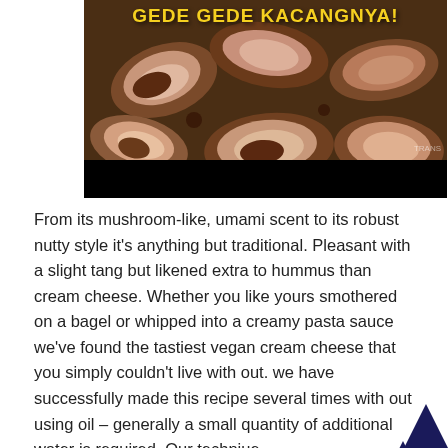[Figure (photo): Photo of large cashew nuts on a dark brown surface with yellow bold text 'GEDE GEDE KACANGNYA!' overlaid at the top, and a black bar at the bottom. Small watermark 'TRANS' visible in the image.]
From its mushroom-like, umami scent to its robust nutty style it's anything but traditional. Pleasant with a slight tang but likened extra to hummus than cream cheese. Whether you like yours smothered on a bagel or whipped into a creamy pasta sauce we've found the tastiest vegan cream cheese that you simply couldn't live with out. we have successfully made this recipe several times with out using oil – generally a small quantity of additional water is required. Our technique